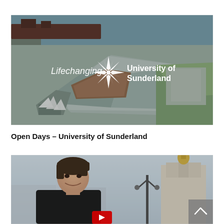[Figure (screenshot): Aerial drone photo of University of Sunderland campus buildings near a waterfront/river with the text 'Lifechanging' and 'University of Sunderland' overlaid in white, along with a starburst logo.]
Open Days – University of Sunderland
[Figure (screenshot): Photo of a young man smiling outdoors in a city setting with a monument visible in the background, a partial YouTube play button visible at bottom center, and a scroll-to-top button in lower-right corner.]